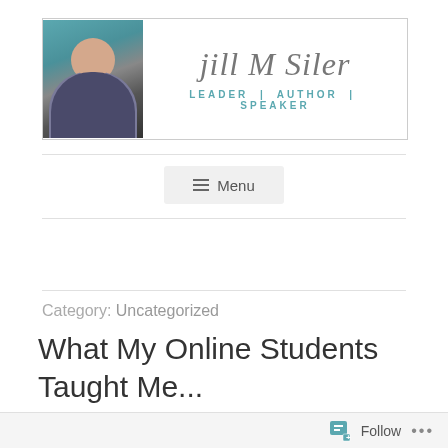[Figure (logo): Jill M Siler blog header banner with photo of woman and text 'jill M Siler – LEADER | AUTHOR | SPEAKER']
[Figure (other): Menu navigation button with hamburger icon and 'Menu' text]
Category: Uncategorized
What My Online Students Taught Me...
Follow ...